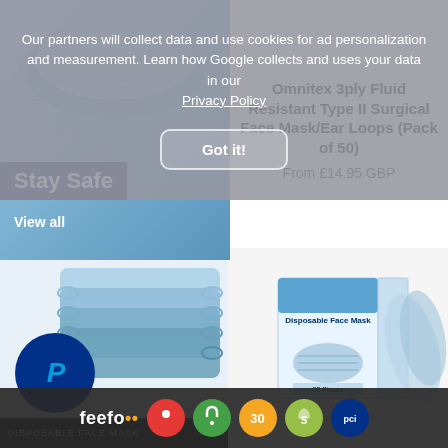[Figure (screenshot): E-commerce webpage screenshot showing a cookie consent overlay with 'Got it!' button, a 'Stay Safe' banner with surgical face masks, a product listing for Omnitex 3ply Fluid Resistant Type II Surgical Face Mask/Ear Loops (Pack of 50) from £14.95 GBP, product images below with PayPal logo, and a badges bar with Feefo, Google Maps, lock, 30-day, Shopify, and PCI DSS icons.]